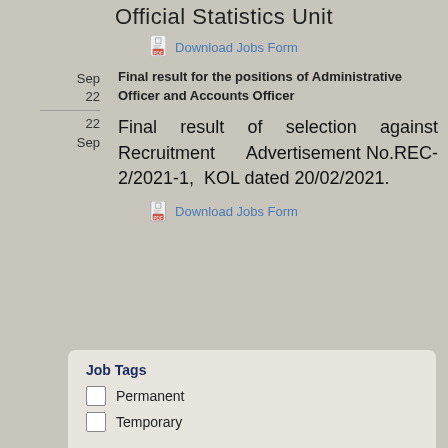Official Statistics Unit
Download Jobs Form
Sep 22 — Final result for the positions of Administrative Officer and Accounts Officer
22 Sep — Final result of selection against Recruitment Advertisement No.REC-2/2021-1, KOL dated 20/02/2021.
Download Jobs Form
Job Tags
Permanent
Temporary